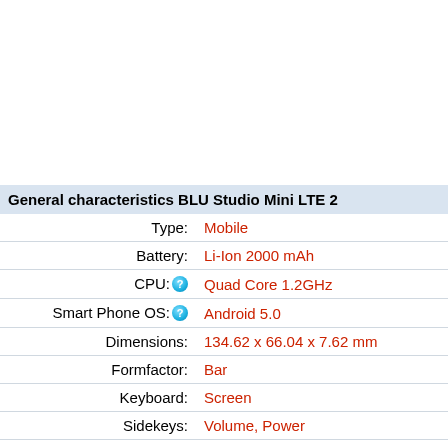| Property | Value |
| --- | --- |
| General characteristics BLU Studio Mini LTE 2 |  |
| Type: | Mobile |
| Battery: | Li-Ion 2000 mAh |
| CPU: | Quad Core 1.2GHz |
| Smart Phone OS: | Android 5.0 |
| Dimensions: | 134.62 x 66.04 x 7.62 mm |
| Formfactor: | Bar |
| Keyboard: | Screen |
| Sidekeys: | Volume, Power |
| Softkeys: | 3 |
| Weight: | 127.57 g |
| Display BLU Studio Mini LTE 2 |  |